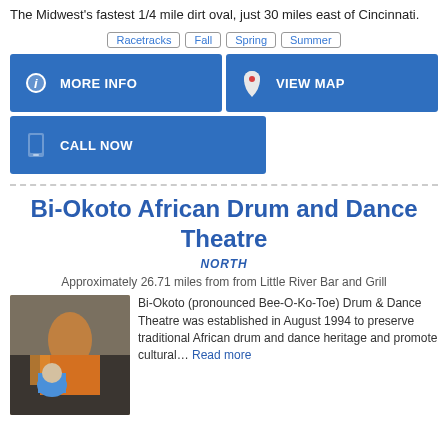The Midwest's fastest 1/4 mile dirt oval, just 30 miles east of Cincinnati.
Racetracks  Fall  Spring  Summer
MORE INFO
VIEW MAP
CALL NOW
Bi-Okoto African Drum and Dance Theatre
NORTH
Approximately 26.71 miles from from Little River Bar and Grill
Bi-Okoto (pronounced Bee-O-Ko-Toe) Drum & Dance Theatre was established in August 1994 to preserve traditional African drum and dance heritage and promote cultural... Read more
[Figure (photo): Photo of Bi-Okoto African Drum and Dance Theatre performance with colorful costume and audience]